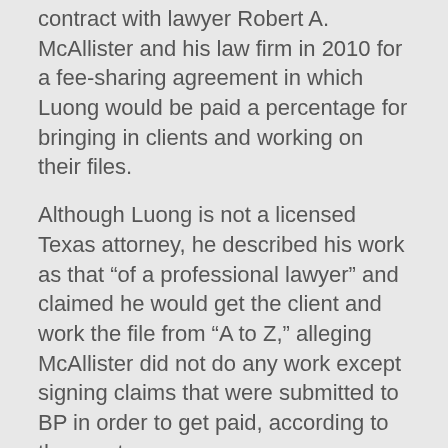contract with lawyer Robert A. McAllister and his law firm in 2010 for a fee-sharing agreement in which Luong would be paid a percentage for bringing in clients and working on their files.
Although Luong is not a licensed Texas attorney, he described his work as that “of a professional lawyer” and claimed he would get the client and work the file from “A to Z,” alleging McAllister did not do any work except signing claims that were submitted to BP in order to get paid, according to the court.
According to the court, Luong said he did not know the exact number of hours he worked but noted it was “a lot,” and claimed that he often worked 14 hours per day, and that McAllister still owes him “not less than $503,080.”